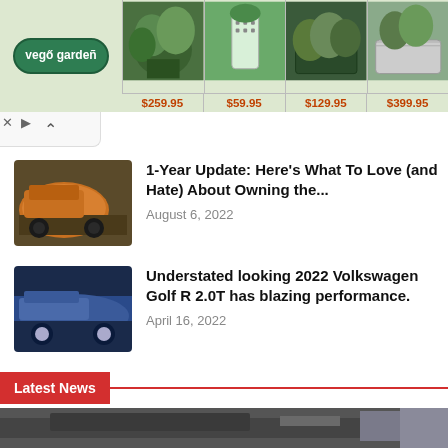[Figure (screenshot): Vego Garden advertisement banner with logo and 4 product images at prices $259.95, $59.95, $129.95, $399.95]
1-Year Update: Here's What To Love (and Hate) About Owning the...
August 6, 2022
Understated looking 2022 Volkswagen Golf R 2.0T has blazing performance.
April 16, 2022
Latest News
[Figure (photo): Partial car image at bottom of page, dark/grey tones]